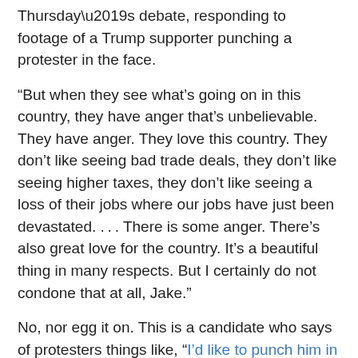Thursday's debate, responding to footage of a Trump supporter punching a protester in the face.
“But when they see what’s going on in this country, they have anger that’s unbelievable. They have anger. They love this country. They don’t like seeing bad trade deals, they don’t like seeing higher taxes, they don’t like seeing a loss of their jobs where our jobs have just been devastated. . . . There is some anger. There’s also great love for the country. It’s a beautiful thing in many respects. But I certainly do not condone that at all, Jake.”
No, nor egg it on. This is a candidate who says of protesters things like, “I’d like to punch him in the face.” Or, “In the good ol’ days, they’d rip him out of that seat so fast.” Or, “Knock the crap out of him, would you? Seriously, Okay just knock the hell. I promise you I will pay for the legal fees. I promise. I promise.”